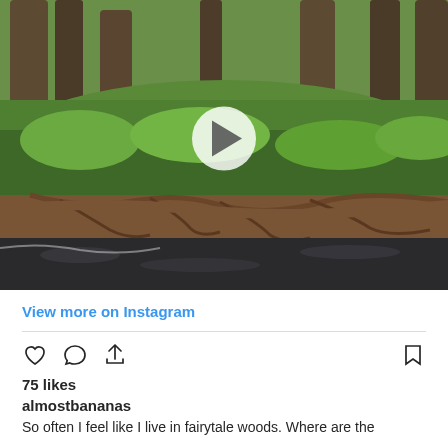[Figure (photo): Forest scene with trees, green undergrowth, exposed tree roots, and a dark stream or muddy water at the base. A white play button overlay is centered on the image, indicating a video.]
View more on Instagram
75 likes
almostbananas
So often I feel like I live in fairytale woods. Where are the